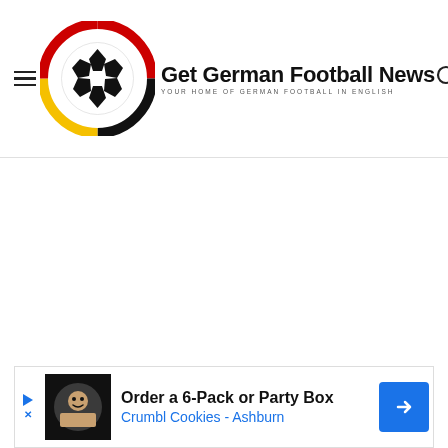Get German Football News — YOUR HOME OF GERMAN FOOTBALL IN ENGLISH
[Figure (other): Ezoic advertisement placeholder area (blank white space)]
ezoic  report this ad
[Figure (other): Bottom banner ad: Order a 6-Pack or Party Box — Crumbl Cookies - Ashburn]